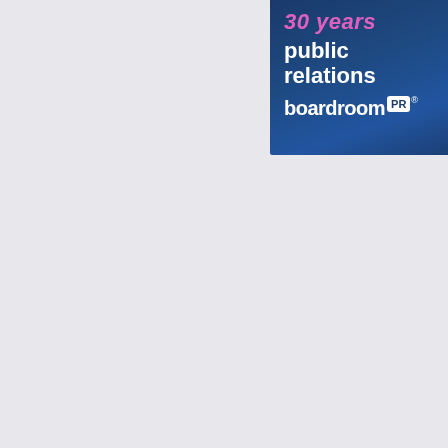[Figure (logo): Boardroom PR advertisement banner. Dark blue gradient background with '30 years' in pink/magenta italic text, 'public relations' in white bold text, and 'boardroom PR' logo with PR in white badge box.]
[Figure (infographic): Dark blue advertisement box with text: 'Get the latest Healthcare News, Analysis and Commentary delivered straight to your inbox...' followed by italic bold text 'Week in Review, Specialty Focus, FHIweekly, Game Changers']
[Figure (screenshot): Blue gradient button strip at bottom of advertisement.]